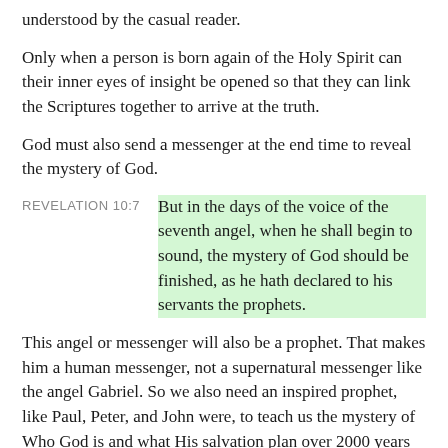understood by the casual reader.
Only when a person is born again of the Holy Spirit can their inner eyes of insight be opened so that they can link the Scriptures together to arrive at the truth.
God must also send a messenger at the end time to reveal the mystery of God.
REVELATION 10:7 — But in the days of the voice of the seventh angel, when he shall begin to sound, the mystery of God should be finished, as he hath declared to his servants the prophets.
This angel or messenger will also be a prophet. That makes him a human messenger, not a supernatural messenger like the angel Gabriel. So we also need an inspired prophet, like Paul, Peter, and John were, to teach us the mystery of Who God is and what His salvation plan over 2000 years is, etc.
The end-time prophet has to reveal many mysteries in Scripture that the churches never understood, such as telling us what the name of the Father, Son, and Holy